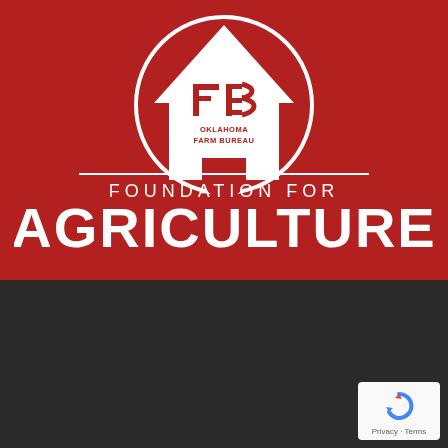[Figure (logo): Oklahoma Farm Bureau Foundation for Agriculture logo on red background. Features a white barn silhouette with a circle, FB logo mark, text 'OKLAHOMA FARM BUREAU' in red on white, 'FOUNDATION FOR' in white, and 'AGRICULTURE' in large bold white text.]
FOLLOW US